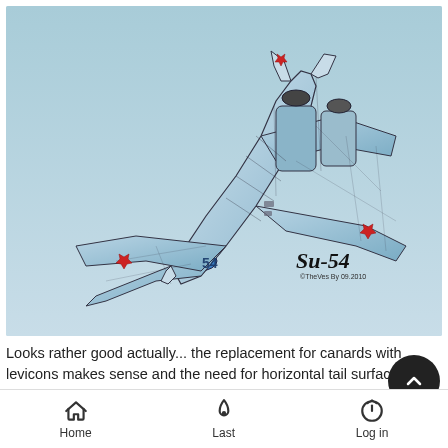[Figure (illustration): Digital illustration/concept art of a Su-54 fighter jet aircraft shown from a top-down angled perspective. The aircraft is light blue/grey with Soviet-era red star markings on the wings. The label 'Su-54' is written in stylized script at the bottom right of the image, along with a small copyright notice.]
Looks rather good actually... the replacement for canards with levicons makes sense and the need for horizontal tail surfaces on a strike aircraft is not a high priority... especially with thrust
Home   Last   Log in